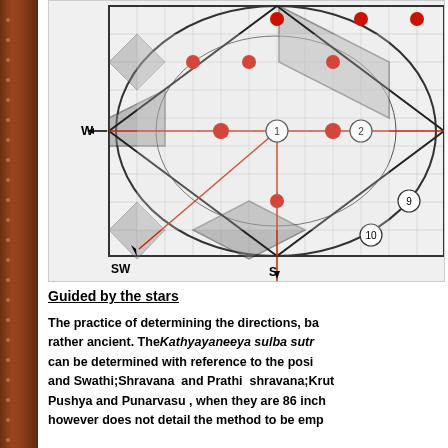[Figure (engineering-diagram): Architectural/astronomical diagram showing a grid overlaid with a circle and geometric diamond shapes. Red dots mark intersection points. Directional labels W, SW, S are visible. Numbers 1, 2, 9, 10 label certain regions. Red lines indicate cardinal and intercardinal directions. The diagram appears to be a Vastu or sulba sutra geometric layout.]
Guided by the stars
The practice of determining the directions, ba rather ancient. TheKathyayaneeya sulba sutr can be determined with reference to the posi and Swathi;Shravana and Prathi shravana;Krut Pushya and Punarvasu , when they are 86 inch however does not detail the method to be emp